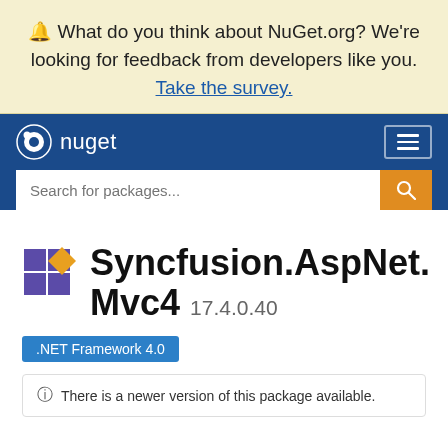🔔 What do you think about NuGet.org? We're looking for feedback from developers like you. Take the survey.
[Figure (screenshot): NuGet.org navigation bar with logo and hamburger menu, plus a search bar reading 'Search for packages...']
Syncfusion.AspNet.Mvc4 17.4.0.40
.NET Framework 4.0
ⓘ There is a newer version of this package available.